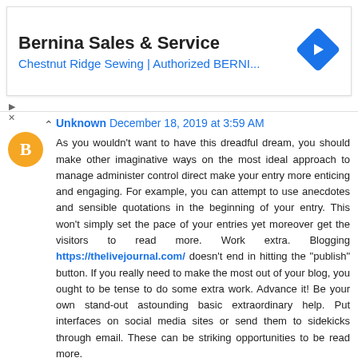[Figure (other): Advertisement banner for Bernina Sales & Service showing company name, subtitle 'Chestnut Ridge Sewing | Authorized BERNI...', a blue diamond navigation icon, and ad controls (play/close buttons).]
Unknown  December 18, 2019 at 3:59 AM

As you wouldn't want to have this dreadful dream, you should make other imaginative ways on the most ideal approach to manage administer control direct make your entry more enticing and engaging. For example, you can attempt to use anecdotes and sensible quotations in the beginning of your entry. This won't simply set the pace of your entries yet moreover get the visitors to read more. Work extra. Blogging https://thelivejournal.com/ doesn't end in hitting the "publish" button. If you really need to make the most out of your blog, you ought to be tense to do some extra work. Advance it! Be your own stand-out astounding basic extraordinary help. Put interfaces on social media sites or send them to sidekicks through email. These can be striking opportunities to be read more.
Reply